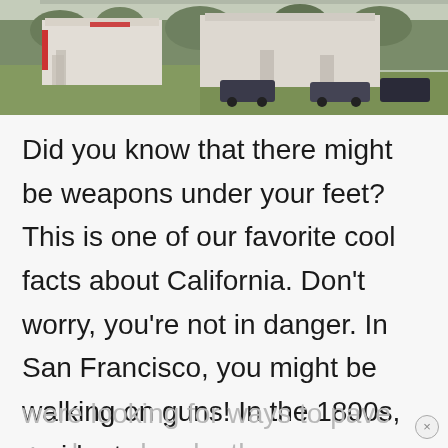[Figure (photo): Photograph of residential buildings with a grass area in the foreground and parked cars visible. Buildings appear to have stairs and a red accent. Background shows trees and a light sky.]
Did you know that there might be weapons under your feet? This is one of our favorite cool facts about California. Don’t worry, you’re not in danger. In San Francisco, you might be walking on guns! In the 1800s, residents were looking for ways to pave the roads and make them more